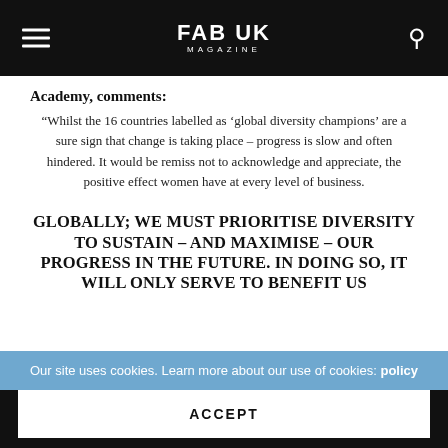FAB UK MAGAZINE
Academy, comments:
“Whilst the 16 countries labelled as ‘global diversity champions’ are a sure sign that change is taking place – progress is slow and often hindered. It would be remiss not to acknowledge and appreciate, the positive effect women have at every level of business.
GLOBALLY; WE MUST PRIORITISE DIVERSITY TO SUSTAIN – AND MAXIMISE – OUR PROGRESS IN THE FUTURE. IN DOING SO, IT WILL ONLY SERVE TO BENEFIT US
Our site uses cookies. Learn more about our use of cookies: policy
ACCEPT